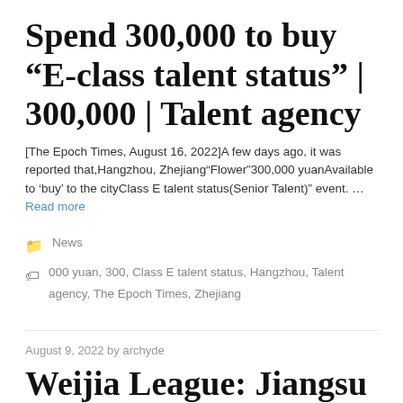Spend 300,000 to buy “E-class talent status” | 300,000 | Talent agency
[The Epoch Times, August 16, 2022]A few days ago, it was reported that,Hangzhou, Zhejiang“Flower”300,000 yuanAvailable to ‘buy’ to the cityClass E talent status(Senior Talent)” event. … Read more
News
000 yuan, 300, Class E talent status, Hangzhou, Talent agency, The Epoch Times, Zhejiang
August 9, 2022 by archyde
Weijia League: Jiangsu lost to Ouzhou and Chengdu